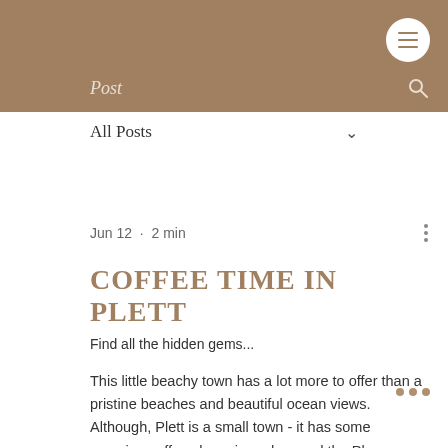Post
All Posts
Jun 12 · 2 min
COFFEE TIME IN PLETT
Find all the hidden gems...
This little beachy town has a lot more to offer than a pristine beaches and beautiful ocean views.  Although, Plett is a small town - it has some amazing coffee shops in and around the Ple area.  Each spot is unique with